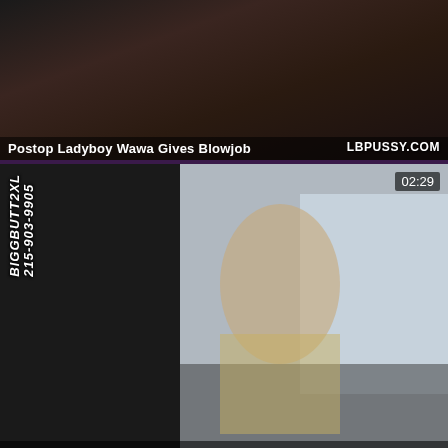[Figure (screenshot): Video thumbnail 1: dark image with person, title overlay 'Postop Ladyboy Wawa Gives Blowjob' and site tag 'LBPUSSY.COM']
[Figure (screenshot): Video thumbnail 2: man in car interior, duration '02:29', watermark 'BIGGBUTT2XL 215-903-9905', title 'BIGGBUTT2XL HERE WAWA COFFEE IS SLAMMIN PART 2']
[Figure (screenshot): Video thumbnail 3: dark scene, duration '55' visible in top right]